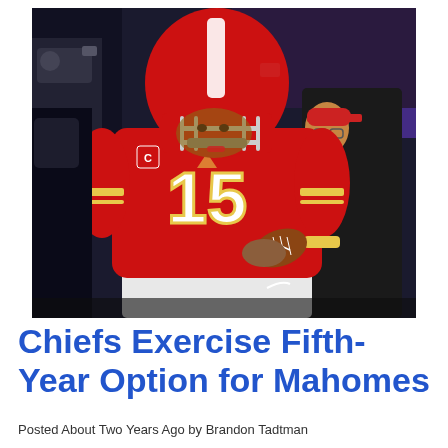[Figure (photo): Patrick Mahomes, Kansas City Chiefs quarterback wearing red jersey number 15 and red helmet with a captain's patch, holding a football, surrounded by cameras and people on the sideline or field after a game.]
Chiefs Exercise Fifth-Year Option for Mahomes
Posted About Two Years Ago by Brandon Tadtman